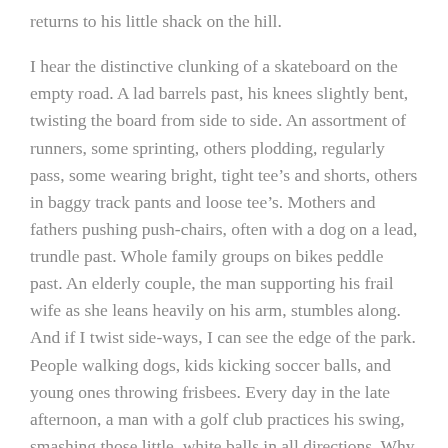returns to his little shack on the hill.
I hear the distinctive clunking of a skateboard on the empty road. A lad barrels past, his knees slightly bent, twisting the board from side to side. An assortment of runners, some sprinting, others plodding, regularly pass, some wearing bright, tight tee’s and shorts, others in baggy track pants and loose tee’s. Mothers and fathers pushing push-chairs, often with a dog on a lead, trundle past. Whole family groups on bikes peddle past. An elderly couple, the man supporting his frail wife as she leans heavily on his arm, stumbles along. And if I twist side-ways, I can see the edge of the park. People walking dogs, kids kicking soccer balls, and young ones throwing frisbees. Every day in the late afternoon, a man with a golf club practices his swing, smashing those little, white balls in all directions. Why doesn’t he go to a golf club, I wonder?